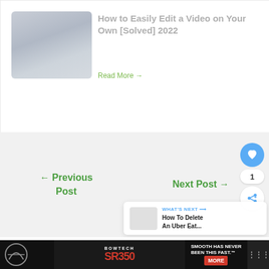[Figure (screenshot): Thumbnail image for a video editing article, grayed out]
How to Easily Edit a Video on Your Own [Solved] 2022
Read More →
← Previous Post
Next Post →
[Figure (infographic): Floating action buttons: heart/like button (blue), count badge showing 1, share button]
[Figure (screenshot): What's Next widget showing: WHAT'S NEXT → How To Delete An Uber Eat... with a thumbnail]
Related:
[Figure (screenshot): Bowtech SR350 advertisement banner: SMOOTH HAS NEVER BEEN THIS FAST. MORE]